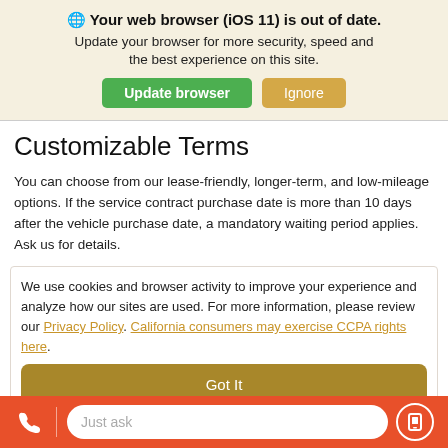🌐 Your web browser (iOS 11) is out of date. Update your browser for more security, speed and the best experience on this site.
Customizable Terms
You can choose from our lease-friendly, longer-term, and low-mileage options. If the service contract purchase date is more than 10 days after the vehicle purchase date, a mandatory waiting period applies. Ask us for details.
We use cookies and browser activity to improve your experience and analyze how our sites are used. For more information, please review our Privacy Policy. California consumers may exercise CCPA rights here.
Just ask